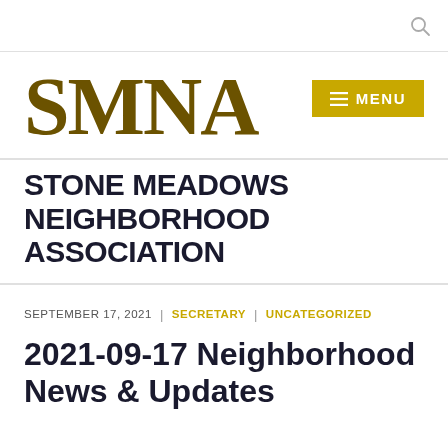SMNA
STONE MEADOWS NEIGHBORHOOD ASSOCIATION
SEPTEMBER 17, 2021 | SECRETARY | UNCATEGORIZED
2021-09-17 Neighborhood News & Updates